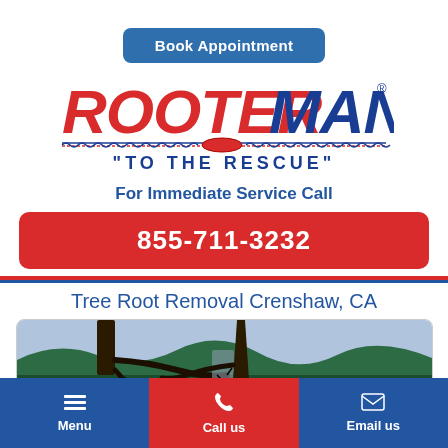Book Appointment
[Figure (logo): Rooter-Man logo with snake/cable graphic and 'TO THE RESCUE' tagline]
For Immediate Service Call
855-711-3232
Tree Root Removal Crenshaw, CA
[Figure (illustration): Illustration of tree roots underground with cracked pipe, green hills and blue sky background]
Menu
Call us
Email us